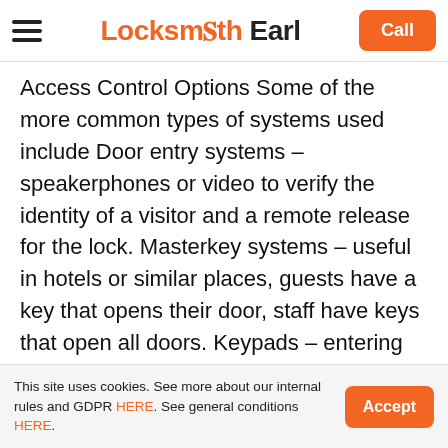Locksmith Earl | Call
Access Control Options Some of the more common types of systems used include Door entry systems – speakerphones or video to verify the identity of a visitor and a remote release for the lock. Masterkey systems – useful in hotels or similar places, guests have a key that opens their door, staff have keys that open all doors. Keypads – entering the combination releases the lock. Swipe cards – can be time-limited in use, so they're a popular option for buildings where individuals need access on a short-term basis. Time-sensitive locks – individuals use their key, combination code or card, but can only gain entry within certain times.
This site uses cookies. See more about our internal rules and GDPR HERE. See general conditions HERE. | Accept